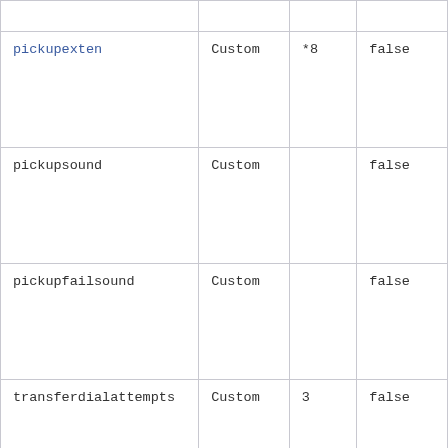|  |  |  |  |
| pickupexten | Custom | *8 | false |
| pickupsound | Custom |  | false |
| pickupfailsound | Custom |  | false |
| transferdialattempts | Custom | 3 | false |